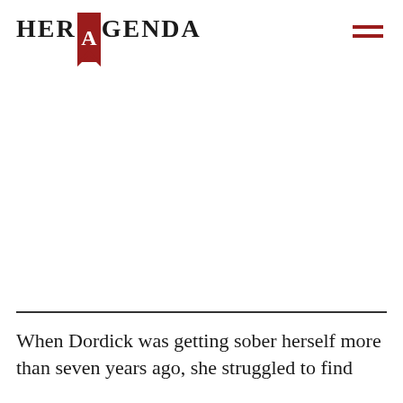HER AGENDA
When Dordick was getting sober herself more than seven years ago, she struggled to find